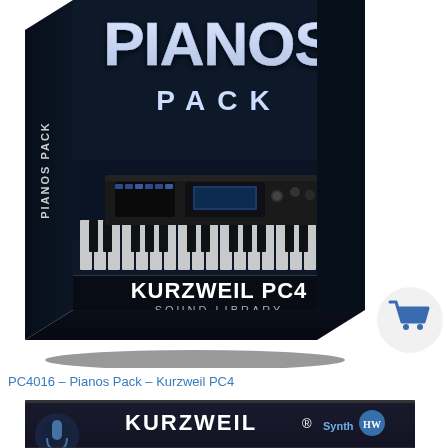[Figure (illustration): Product box for 'Pianos Pack - Kurzweil PC4 Sound Library'. Dark blue/black box with 'PIANOS PACK' in large white text at top, piano keys and synthesizer keyboard image in center, 'KURZWEIL PC4 SOUND LIBRARY' text at bottom. 'PIANOS PACK' text also visible on the left spine of the box.]
[Figure (illustration): Shopping cart icon inside a light gray circle, positioned to the right of the product box.]
PC4016 – Pianos Pack – Kurzweil PC4
[Figure (illustration): Partially visible second product box showing 'KURZWEIL' logo with registered trademark, 'Synth' logo, and '58 SOUNDS' text partially visible at bottom, on dark background.]